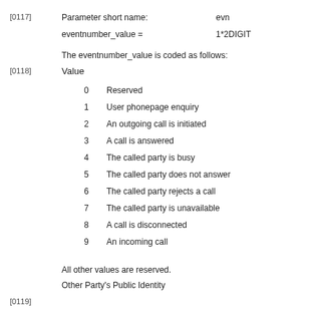[0117]
Parameter short name:    evn
eventnumber_value =      1*2DIGIT
The eventnumber_value is coded as follows:
[0118]
Value
0    Reserved
1    User phonepage enquiry
2    An outgoing call is initiated
3    A call is answered
4    The called party is busy
5    The called party does not answer
6    The called party rejects a call
7    The called party is unavailable
8    A call is disconnected
9    An incoming call
All other values are reserved.
Other Party's Public Identity
[0119]